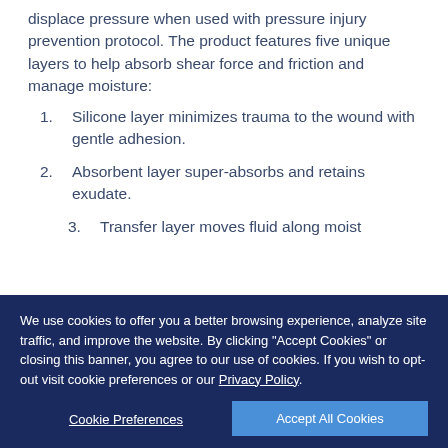displace pressure when used with pressure injury prevention protocol. The product features five unique layers to help absorb shear force and friction and manage moisture:
Silicone layer minimizes trauma to the wound with gentle adhesion.
Absorbent layer super-absorbs and retains exudate.
Transfer layer moves fluid along moist...
We use cookies to offer you a better browsing experience, analyze site traffic, and improve the website. By clicking “Accept Cookies” or closing this banner, you agree to our use of cookies. If you wish to opt-out visit cookie preferences or our Privacy Policy.